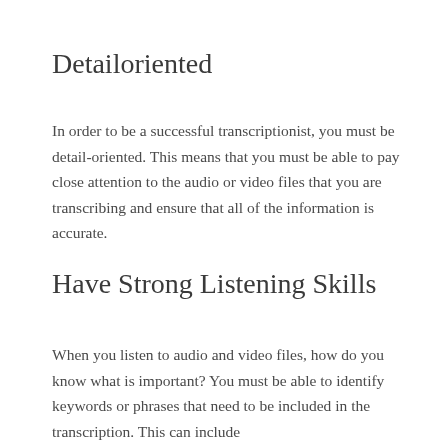Detailoriented
In order to be a successful transcriptionist, you must be detail-oriented. This means that you must be able to pay close attention to the audio or video files that you are transcribing and ensure that all of the information is accurate.
Have Strong Listening Skills
When you listen to audio and video files, how do you know what is important? You must be able to identify keywords or phrases that need to be included in the transcription. This can include